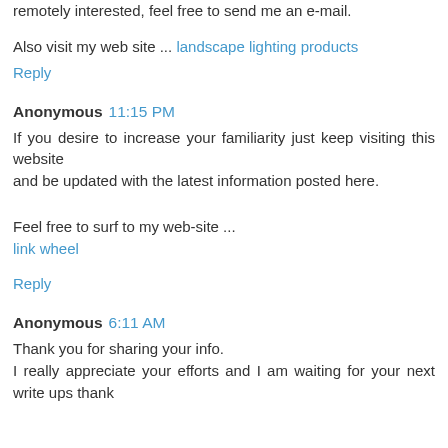remotely interested, feel free to send me an e-mail.
Also visit my web site ... landscape lighting products
Reply
Anonymous 11:15 PM
If you desire to increase your familiarity just keep visiting this website and be updated with the latest information posted here.
Feel free to surf to my web-site ...
link wheel
Reply
Anonymous 6:11 AM
Thank you for sharing your info. I really appreciate your efforts and I am waiting for your next write ups thank